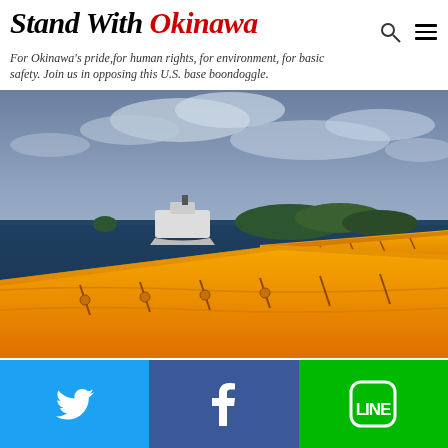Stand With Okinawa
For Okinawa's pride, for human rights, for environment, for basic safety. Join us in opposing this U.S. base boondoggle.
[Figure (photo): A photo showing orange safety floats/booms on the ocean with a ship in the background, near islands, taken in Okinawa waters. Cloudy sky above.]
Twitter share | Facebook share | LINE share